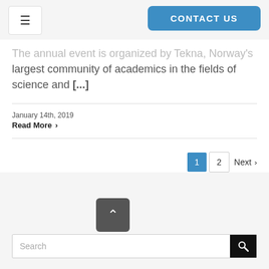☰  CONTACT US
The annual event is organized by Tekna, Norway's largest community of academics in the fields of science and [...]
January 14th, 2019
Read More ›
1  2  Next ›
Search